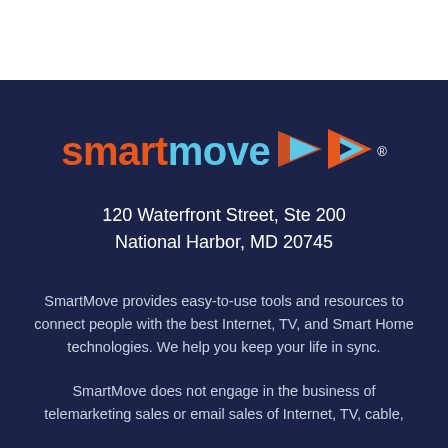[Figure (logo): SmartMove logo with orange 'smart', light blue 'move', and a triangular arrow icon in orange and light blue, with registered trademark symbol]
120 Waterfront Street, Ste 200
National Harbor, MD 20745
SmartMove provides easy-to-use tools and resources to connect people with the best Internet, TV, and Smart Home technologies. We help you keep your life in sync.
SmartMove does not engage in the business of telemarketing sales or email sales of Internet, TV, cable,